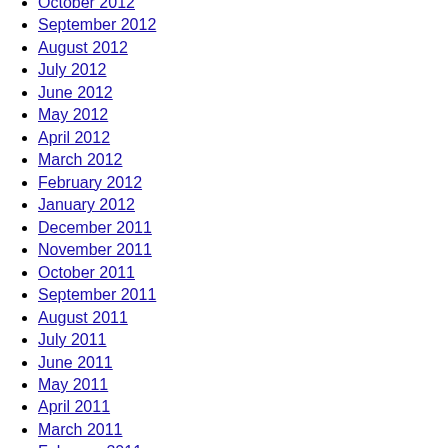October 2012
September 2012
August 2012
July 2012
June 2012
May 2012
April 2012
March 2012
February 2012
January 2012
December 2011
November 2011
October 2011
September 2011
August 2011
July 2011
June 2011
May 2011
April 2011
March 2011
February 2011
January 2011
December 2010
November 2010
October 2010
September 2010